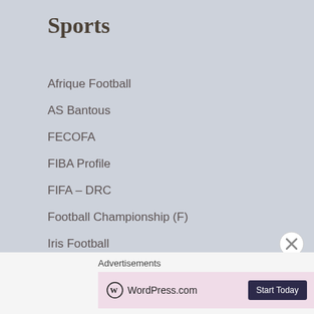Sports
Afrique Football
AS Bantous
FECOFA
FIBA Profile
FIFA – DRC
Football Championship (F)
Iris Football
Leopards Foot
SM Sanga Balende
TP Mazembe
US Tshinkunku
Advertisements
[Figure (other): WordPress.com advertisement banner with Start Today button]